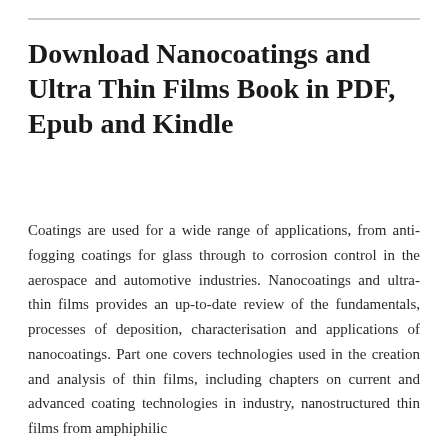Download Nanocoatings and Ultra Thin Films Book in PDF, Epub and Kindle
Coatings are used for a wide range of applications, from anti-fogging coatings for glass through to corrosion control in the aerospace and automotive industries. Nanocoatings and ultra-thin films provides an up-to-date review of the fundamentals, processes of deposition, characterisation and applications of nanocoatings. Part one covers technologies used in the creation and analysis of thin films, including chapters on current and advanced coating technologies in industry, nanostructured thin films from amphiphilic